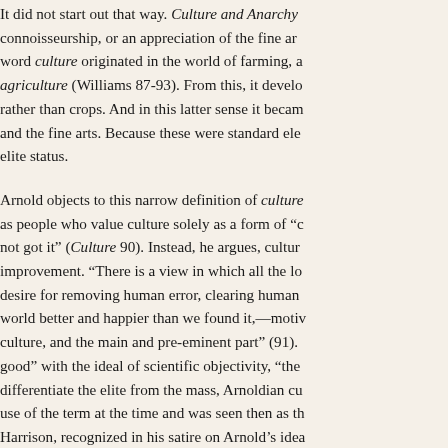It did not start out that way. Culture and Anarchy connoisseurship, or an appreciation of the fine arts. The word culture originated in the world of farming, a synonym for agriculture (Williams 87-93). From this, it developed to mean the cultivation of minds rather than crops. And in this latter sense it became associated with learning and the fine arts. Because these were standard elements of elite education, culture came to signal elite status.
Arnold objects to this narrow definition of culture, dismissing those as people who value culture solely as a form of "class distinction and showing" who have not got it" (Culture 90). Instead, he argues, culture should be about human improvement. "There is a view in which all the love of our neighbour, the impulses towards action, help, and beneficence, the desire for removing human error, clearing human confusion, and diminishing human misery, the noble aspiration to leave the world better and happier than we found it,—motives eminently such as are called social,—come in as part of the grounds of culture, and the main and pre-eminent part" (91). By linking the "social" good" with the ideal of scientific objectivity, "the best that is known and thought," Arnold sought to differentiate the elite from the mass, Arnoldian culture was consistent with the dominant use of the term at the time and was seen then as the dominant view, as Frederic Harrison, recognized in his satire on Arnold's idea
Both personal and social factors contributed to Arnold's (1795-1842), who insisted that, whatever goals or